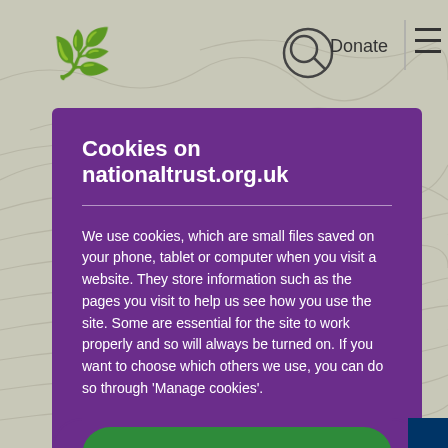[Figure (screenshot): National Trust website header with oak leaf logo, search icon, Donate link, and hamburger menu on a beige background with topographic map visible behind]
Cookies on nationaltrust.org.uk
We use cookies, which are small files saved on your phone, tablet or computer when you visit a website. They store information such as the pages you visit to help us see how you use the site. Some are essential for the site to work properly and so will always be turned on. If you want to choose which others we use, you can do so through 'Manage cookies'.
Accept all cookies